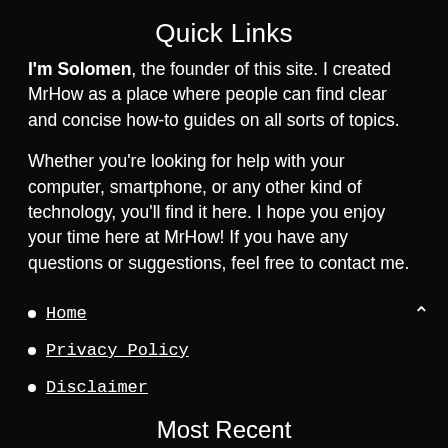Quick Links
I'm Solomen, the founder of this site. I created MrHow as a place where people can find clear and concise how-to guides on all sorts of topics.
Whether you're looking for help with your computer, smartphone, or any other kind of technology, you'll find it here. I hope you enjoy your time here at MrHow! If you have any questions or suggestions, feel free to contact me.
Home
Privacy Policy
Disclaimer
Most Recent